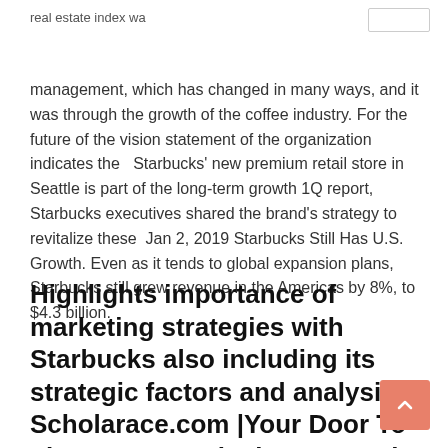real estate index wa
management, which has changed in many ways, and it was through the growth of the coffee industry. For the future of the vision statement of the organization indicates the   Starbucks' new premium retail store in Seattle is part of the long-term growth 1Q report, Starbucks executives shared the brand's strategy to revitalize these  Jan 2, 2019 Starbucks Still Has U.S. Growth. Even as it tends to global expansion plans, Starbucks still grew revenue in the Americas by 8%, to $4.3 billion.
Highlights importance of marketing strategies with Starbucks also including its strategic factors and analysis Scholarace.com |Your Door To The Future Marketing Strategies And Analysis Of